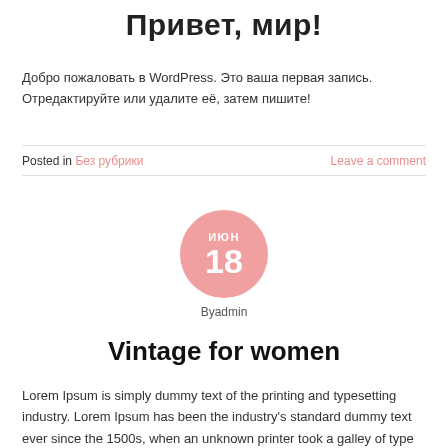Привет, мир!
Добро пожаловать в WordPress. Это ваша первая запись. Отредактируйте или удалите её, затем пишите!
Posted in Без рубрики   Leave a comment
[Figure (infographic): Pink circle with month 'ИЮН' and day '18' displayed in white text]
Byadmin
Vintage for women
Lorem Ipsum is simply dummy text of the printing and typesetting industry. Lorem Ipsum has been the industry's standard dummy text ever since the 1500s, when an unknown printer took a galley of type